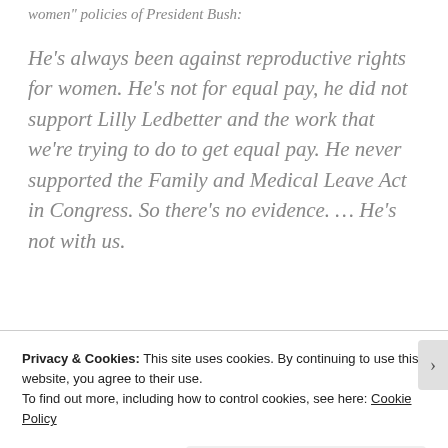women” policies of President Bush:
He’s always been against reproductive rights for women. He’s not for equal pay, he did not support Lilly Ledbetter and the work that we’re trying to do to get equal pay. He never supported the Family and Medical Leave Act in Congress. So there’s no evidence. … He’s not with us.
Privacy & Cookies: This site uses cookies. By continuing to use this website, you agree to their use.
To find out more, including how to control cookies, see here: Cookie Policy
Close and accept